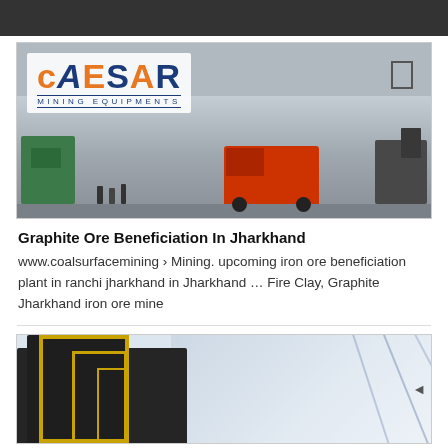[Figure (photo): Caesar Mining Equipments website header banner showing logo and aerial view of mining site with trucks and heavy equipment]
Graphite Ore Beneficiation In Jharkhand
www.coalsurfacemining › Mining. upcoming iron ore beneficiation plant in ranchi jharkhand in Jharkhand … Fire Clay, Graphite Jharkhand iron ore mine
[Figure (photo): Industrial mining plant facility with dark building structure, yellow scaffolding, and sky background with diagonal lines]